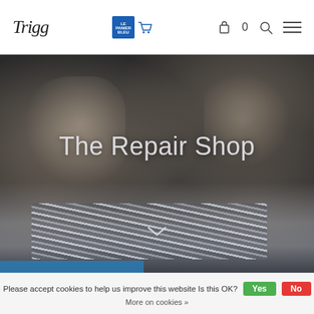Trigg | Le Panier Bleu | 0 items | Search | Menu
[Figure (photo): Black and white close-up photo of hands working on a metal instrument (clarinet or similar), with metallic keys visible. Text overlay reads 'The Repair Shop' with a downward chevron arrow below.]
Please accept cookies to help us improve this website Is this OK?
More on cookies »